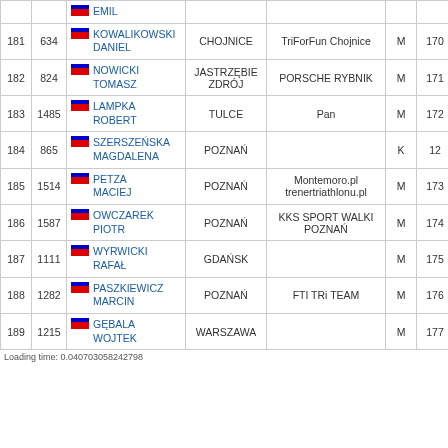| # | BIB | Name | City | Team | Sex | Rank |
| --- | --- | --- | --- | --- | --- | --- |
|  |  | EMIL |  |  |  |  |
| 181 | 634 | KOWALIKOWSKI DANIEL | CHOJNICE | TriForFun Chojnice | M | 170 |
| 182 | 824 | NOWICKI TOMASZ | JASTRZĘBIE ZDRÓJ | PORSCHE RYBNIK | M | 171 |
| 183 | 1485 | LAMPKA ROBERT | TULCE | Pan | M | 172 |
| 184 | 865 | SZERSZEŃSKA MAGDALENA | POZNAŃ |  | K | 12 |
| 185 | 1514 | PETZA MACIEJ | POZNAŃ | Montemoro.pl trenertriathlonu.pl | M | 173 |
| 186 | 1587 | OWCZAREK PIOTR | POZNAŃ | KKS SPORT WALKI POZNAŃ | M | 174 |
| 187 | 1111 | WYRWICKI RAFAŁ | GDAŃSK |  | M | 175 |
| 188 | 1282 | PASZKIEWICZ MARCIN | POZNAŃ | FTI TRi TEAM | M | 176 |
| 189 | 1215 | GĘBALA WOJTEK | WARSZAWA |  | M | 177 |
Loading time: 0.040703058242798